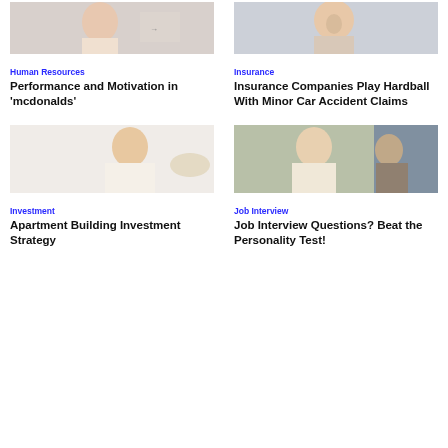[Figure (photo): Woman pointing at something, white background]
Human Resources
Performance and Motivation in 'mcdonalds'
[Figure (photo): Person with surprised/shocked expression]
Insurance
Insurance Companies Play Hardball With Minor Car Accident Claims
[Figure (photo): Smiling young Asian woman gesturing with her hand]
Investment
Apartment Building Investment Strategy
[Figure (photo): Two people in a meeting or interview setting with bookshelves in background]
Job Interview
Job Interview Questions? Beat the Personality Test!